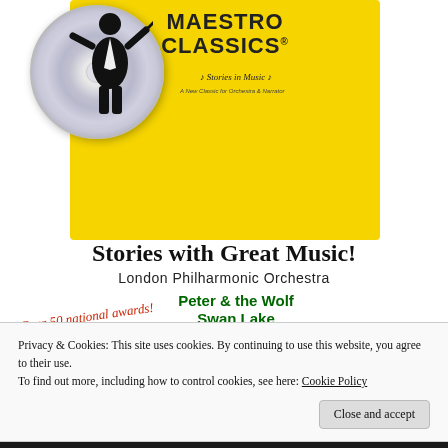[Figure (illustration): Maestro Classics product image showing a CD and yellow branded card with 'MAESTRO CLASSICS' logo, 'Stories in Music' tagline, and conductor silhouette]
Stories with Great Music!
London Philharmonic Orchestra
Over 50 national awards!
Peter & the Wolf
Swan Lake
and many more!
[Figure (screenshot): Partial screenshot of a website showing navigation bar elements against dark background]
Privacy & Cookies: This site uses cookies. By continuing to use this website, you agree to their use.
To find out more, including how to control cookies, see here: Cookie Policy
Close and accept
NOTEBOOKING PAGES & MORE!